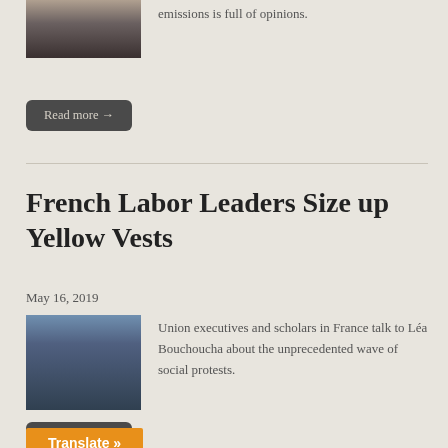[Figure (photo): Industrial smokestacks with smoke against a hazy sky]
emissions is full of opinions.
Read more →
French Labor Leaders Size up Yellow Vests
May 16, 2019
[Figure (photo): Yellow vest protesters in the street with smoke and crowd]
Union executives and scholars in France talk to Léa Bouchoucha about the unprecedented wave of social protests.
Read more →
Translate »